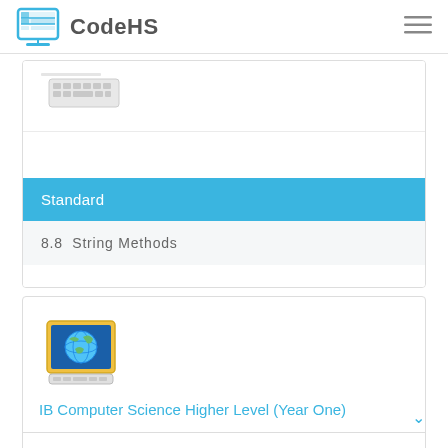CodeHS
[Figure (screenshot): Partial keyboard/laptop image at top of first card]
Standard
8.8  String Methods
[Figure (illustration): Computer monitor with globe icon for IB Computer Science course]
IB Computer Science Higher Level (Year One)